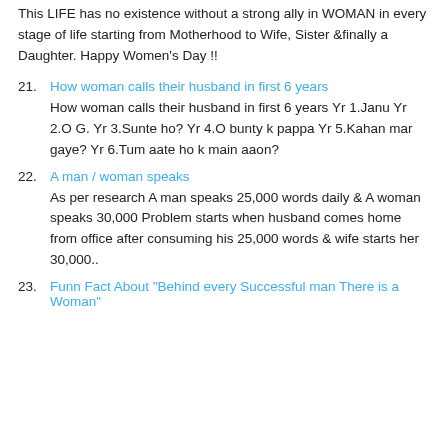This LIFE has no existence without a strong ally in WOMAN in every stage of life starting from Motherhood to Wife, Sister &finally a Daughter. Happy Women's Day !!
21. How woman calls their husband in first 6 years

How woman calls their husband in first 6 years Yr 1.Janu Yr 2.O G. Yr 3.Sunte ho? Yr 4.O bunty k pappa Yr 5.Kahan mar gaye? Yr 6.Tum aate ho k main aaon?
22. A man / woman speaks

As per research A man speaks 25,000 words daily & A woman speaks 30,000 Problem starts when husband comes home from office after consuming his 25,000 words & wife starts her 30,000..
23. Funn Fact About "Behind every Successful man There is a Woman"